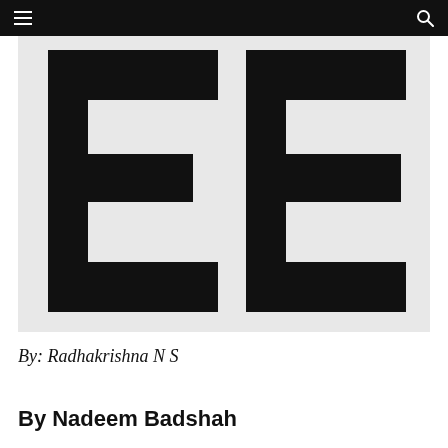[Figure (logo): Two large stylized letter E characters in black on a light gray background, forming a logo mark.]
By: Radhakrishna N S
By Nadeem Badshah